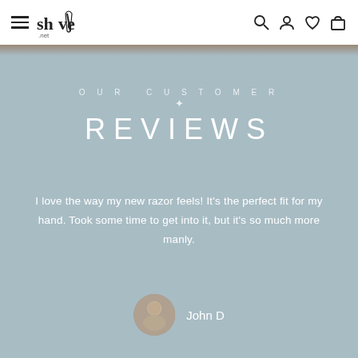shave.net navigation bar with hamburger menu and icons
OUR CUSTOMER
✦
REVIEWS
I love the way my new razor feels! It's the perfect fit for my hand. Took some time to get into it, but it's so much more manly.
John D